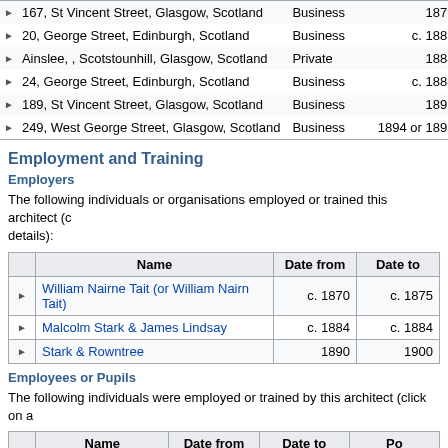|  | Address | Type | Dates |  |
| --- | --- | --- | --- | --- |
| ▶ | 167, St Vincent Street, Glasgow, Scotland | Business | 1879 | A |
| ▶ | 20, George Street, Edinburgh, Scotland | Business | c. 1887 |  |
| ▶ | Ainslee, , Scotstounhill, Glasgow, Scotland | Private | 1888 |  |
| ▶ | 24, George Street, Edinburgh, Scotland | Business | c. 1888 |  |
| ▶ | 189, St Vincent Street, Glasgow, Scotland | Business | 1892 | 189 |
| ▶ | 249, West George Street, Glasgow, Scotland | Business | 1894 or 1895 | A |
Employment and Training
Employers
The following individuals or organisations employed or trained this architect (click on details):
|  | Name | Date from | Date to |
| --- | --- | --- | --- |
| ▶ | William Nairne Tait (or William Nairn Tait) | c. 1870 | c. 1875 |
| ▶ | Malcolm Stark & James Lindsay | c. 1884 | c. 1884 |
| ▶ | Stark & Rowntree | 1890 | 1900 |
Employees or Pupils
The following individuals were employed or trained by this architect (click on a
|  | Name | Date from | Date to | Po |
| --- | --- | --- | --- | --- |
| ▶ | Alexander Gardner | 1878 | 1883 | Appren |